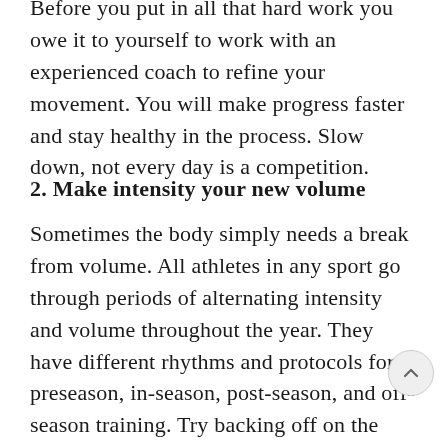Before you put in all that hard work you owe it to yourself to work with an experienced coach to refine your movement. You will make progress faster and stay healthy in the process. Slow down, not every day is a competition.
2. Make intensity your new volume
Sometimes the body simply needs a break from volume. All athletes in any sport go through periods of alternating intensity and volume throughout the year. They have different rhythms and protocols for preseason, in-season, post-season, and off-season training. Try backing off on the volume of your training and focusing on higher intensity pieces instead. For lifters